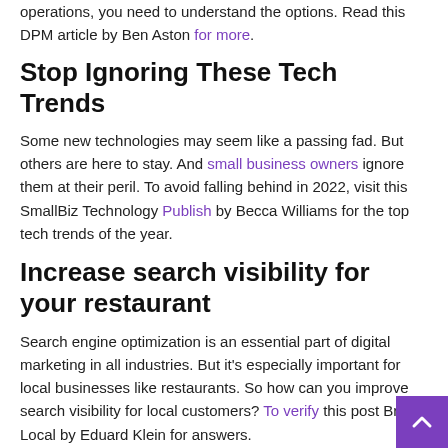operations, you need to understand the options. Read this DPM article by Ben Aston for more.
Stop Ignoring These Tech Trends
Some new technologies may seem like a passing fad. But others are here to stay. And small business owners ignore them at their peril. To avoid falling behind in 2022, visit this SmallBiz Technology Publish by Becca Williams for the top tech trends of the year.
Increase search visibility for your restaurant
Search engine optimization is an essential part of digital marketing in all industries. But it's especially important for local businesses like restaurants. So how can you improve search visibility for local customers? To verify this post Bright Local by Eduard Klein for answers.